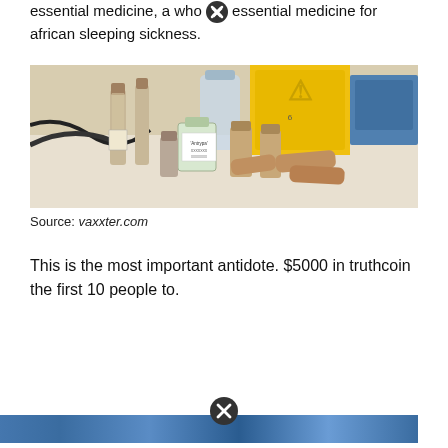essential medicine, a who essential medicine for african sleeping sickness.
[Figure (photo): Laboratory bench with various small glass vials, test tubes with cork stoppers containing powder/granular substances, and a small labeled medicine bottle. Background shows yellow biohazard container, water bottles, and lab equipment.]
Source: vaxxter.com
This is the most important antidote. $5000 in truthcoin the first 10 people to.
[Figure (photo): Partial view of another image at bottom of page with blue tones, partially obscured by a close/cancel button overlay.]